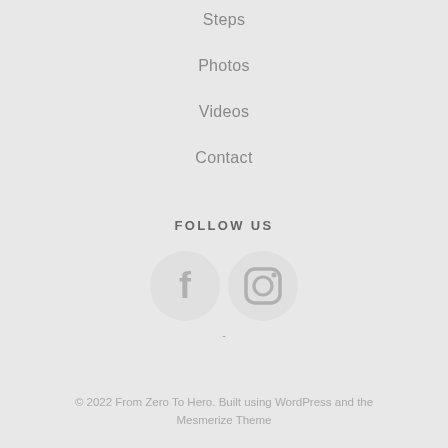Steps
Photos
Videos
Contact
FOLLOW US
[Figure (illustration): Facebook and Instagram circular social media icons with white symbols on light gray background]
-
© 2022 From Zero To Hero. Built using WordPress and the Mesmerize Theme